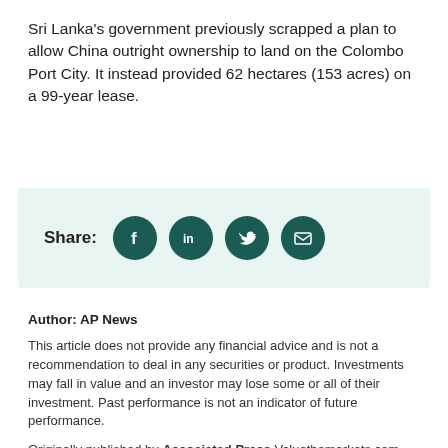Sri Lanka's government previously scrapped a plan to allow China outright ownership to land on the Colombo Port City. It instead provided 62 hectares (153 acres) on a 99-year lease.
[Figure (infographic): Share buttons bar with Facebook, LinkedIn, Twitter, and email icons on a light teal background. Label reads 'Share:']
Author: AP News
This article does not provide any financial advice and is not a recommendation to deal in any securities or product. Investments may fall in value and an investor may lose some or all of their investment. Past performance is not an indicator of future performance.
Originally published by Associated Press Valuethemarkets.com, Digitonic Ltd (and our owners, directors, officers, managers, employees, affiliates, agents and assigns) are not responsible for the content or